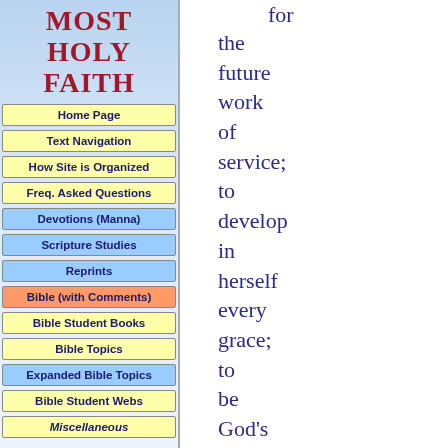MOST HOLY FAITH
Home Page
Text Navigation
How Site is Organized
Freq. Asked Questions
Devotions (Manna)
Scripture Studies
Reprints
Bible (with Comments)
Bible Student Books
Bible Topics
Expanded Bible Topics
Bible Student Webs
Miscellaneous
for the future work of service; to develop in herself every grace; to be God's witness to the world; and to